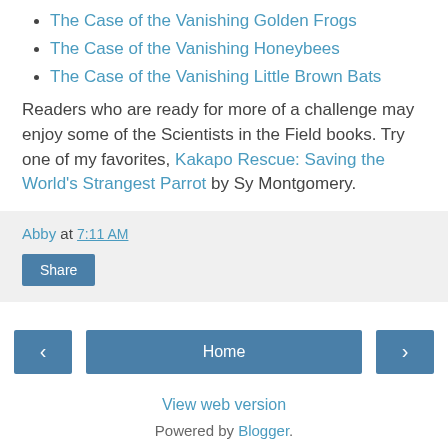The Case of the Vanishing Golden Frogs
The Case of the Vanishing Honeybees
The Case of the Vanishing Little Brown Bats
Readers who are ready for more of a challenge may enjoy some of the Scientists in the Field books. Try one of my favorites, Kakapo Rescue: Saving the World's Strangest Parrot by Sy Montgomery.
Abby at 7:11 AM
Share
Home
View web version
Powered by Blogger.